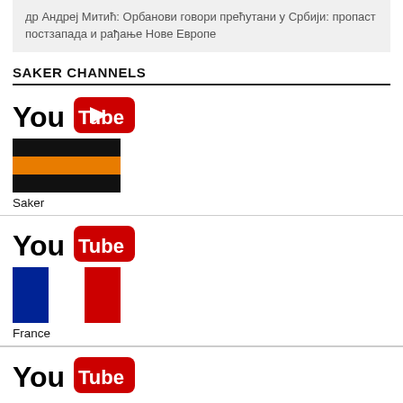др Андреј Митић: Орбанови говори прећутани у Србији: пропаст постзапада и рађање Нове Европе
SAKER CHANNELS
[Figure (logo): YouTube logo followed by Saint George ribbon flag icon, label: Saker]
Saker
[Figure (logo): YouTube logo followed by French flag icon, label: France]
France
[Figure (logo): YouTube logo (partial, clipped at bottom)]